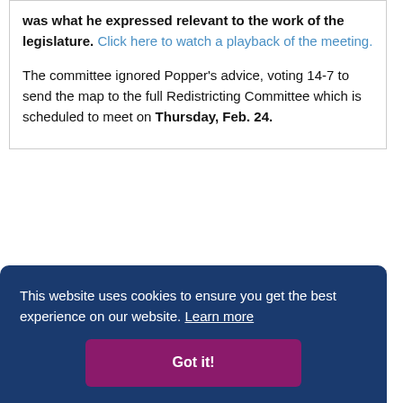was what he expressed relevant to the work of the legislature. Click here to watch a playback of the meeting.

The committee ignored Popper's advice, voting 14-7 to send the map to the full Redistricting Committee which is scheduled to meet on Thursday, Feb. 24.
This website uses cookies to ensure you get the best experience on our website. Learn more
Got it!